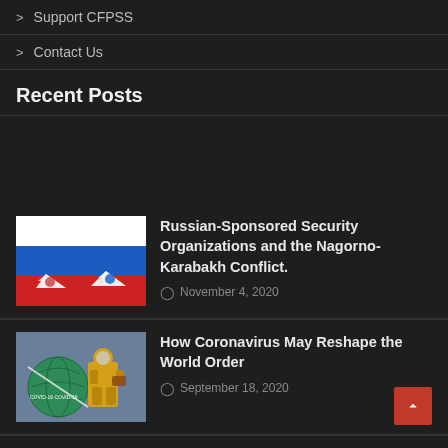> Support CFPSS
> Contact Us
Recent Posts
[Figure (photo): Russian flag with paper boats carrying Armenia and Azerbaijan flag symbols]
Russian-Sponsored Security Organizations and the Nagorno-Karabakh Conflict.
November 4, 2020
[Figure (photo): Globe with COVID-19 banner and person in yellow hazmat suit]
How Coronavirus May Reshape the World Order
September 18, 2020